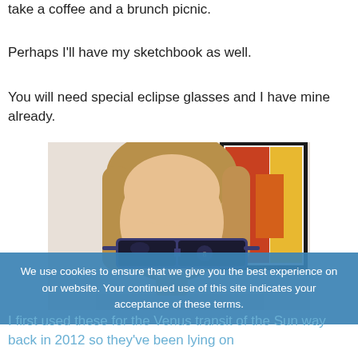take a coffee and a brunch picnic.
Perhaps I'll have my sketchbook as well.
You will need special eclipse glasses and I have mine already.
[Figure (photo): A person wearing special eclipse glasses, shown from chest up, with blonde hair. In the background there is a framed artwork with red and yellow colors on the wall.]
We use cookies to ensure that we give you the best experience on our website. Your continued use of this site indicates your acceptance of these terms.
I first used these for the Venus transit of the Sun way back in 2012 so they've been lying on